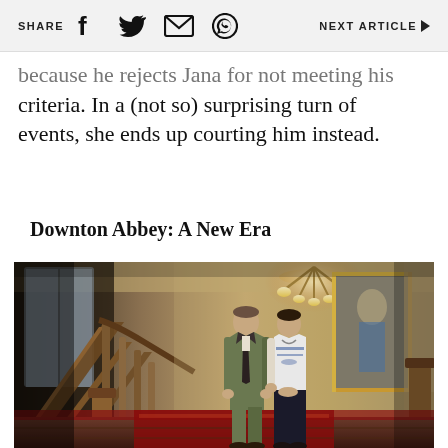SHARE  NEXT ARTICLE
because he rejects Jana for not meeting his criteria. In a (not so) surprising turn of events, she ends up courting him instead.
Downton Abbey: A New Era
[Figure (photo): Two people, a man in a suit and a woman in a white blouse, standing on the grand staircase of Downton Abbey with ornate wooden banisters, a chandelier, and a large painting in the background.]